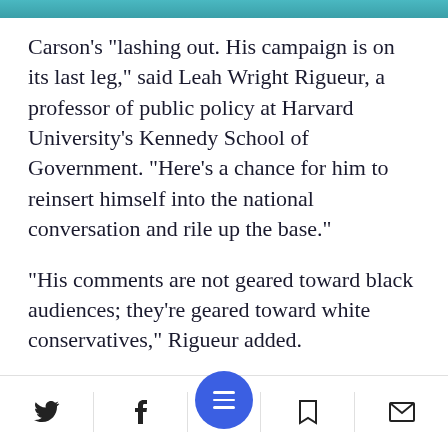[Figure (photo): Partial image strip at top of page, teal/blue colored banner]
Carson's "lashing out. His campaign is on its last leg," said Leah Wright Rigueur, a professor of public policy at Harvard University's Kennedy School of Government. "Here's a chance for him to reinsert himself into the national conversation and rile up the base."
"His comments are not geared toward black audiences; they're geared toward white conservatives," Rigueur added.
Carson has leveled ra[ce-ba]sed attacks before.
Social share bar with Twitter, Facebook, menu, bookmark, and email icons